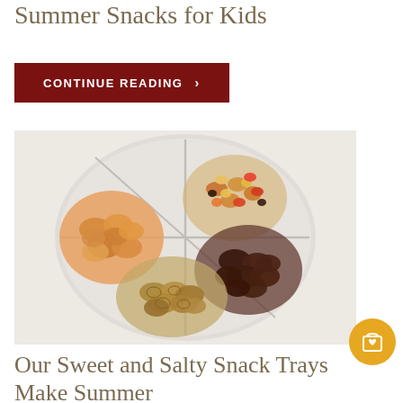Summer Snacks for Kids
CONTINUE READING >
[Figure (photo): A round divided plastic tray containing four sections of mixed dried fruits and nuts: dried apricots on the left, mixed trail mix with candy corn in the upper section, dark dried fruits (prunes/dates) on the right, and mixed nuts/seeds at the bottom.]
Our Sweet and Salty Snack Trays Make Summer Entertaining Easy